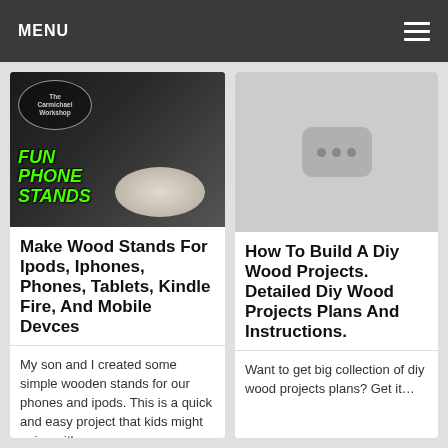MENU
[Figure (photo): Thumbnail image of wooden phone stands on a dark background with 'Fun Phone Stands' text and The Carmichael Workshop logo]
Make Wood Stands For Ipods, Iphones, Phones, Tablets, Kindle Fire, And Mobile Devces
My son and I created some simple wooden stands for our phones and ipods. This is a quick and easy project that kids might enjoy with…
[Figure (screenshot): Gray placeholder thumbnail with a dark rounded rectangle containing three dots, resembling a loading/unavailable video thumbnail]
How To Build A Diy Wood Projects. Detailed Diy Wood Projects Plans And Instructions.
Want to get big collection of diy wood projects plans? Get it…